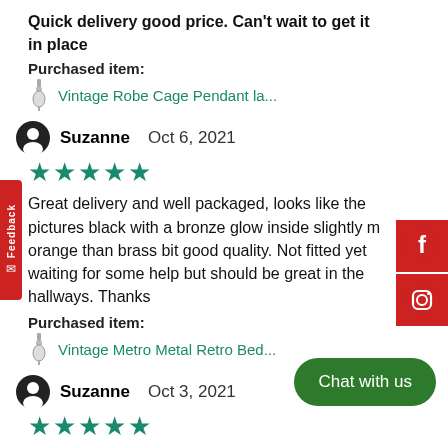Quick delivery good price. Can't wait to get it in place
Purchased item:
Vintage Robe Cage Pendant la...
Suzanne   Oct 6, 2021
[Figure (other): 5 filled star rating icons in teal/green]
Great delivery and well packaged, looks like the pictures black with a bronze glow inside slightly m orange than brass bit good quality. Not fitted yet waiting for some help but should be great in the hallways. Thanks
Purchased item:
Vintage Metro Metal Retro Bed...
Suzanne   Oct 3, 2021
[Figure (other): 5 filled star rating icons in teal/green]
Amazing lights, we couldn't be happ ve ordered more